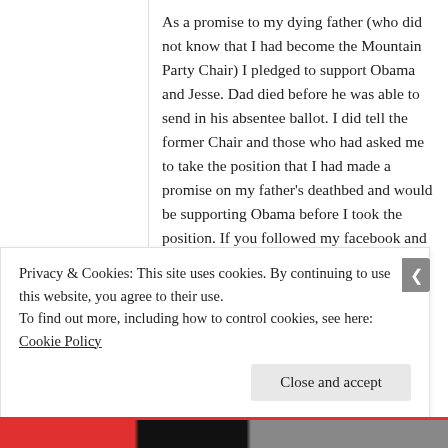As a promise to my dying father (who did not know that I had become the Mountain Party Chair) I pledged to support Obama and Jesse. Dad died before he was able to send in his absentee ballot. I did tell the former Chair and those who had asked me to take the position that I had made a promise on my father's deathbed and would be supporting Obama before I took the position. If you followed my facebook and emails that I put out, I put both Obama and Jill Stein out as candidates to support. The Vice Chair of the Mountain Party garnered support for Jill Stein solely.
Reply ↓
Privacy & Cookies: This site uses cookies. By continuing to use this website, you agree to their use.
To find out more, including how to control cookies, see here: Cookie Policy
Close and accept